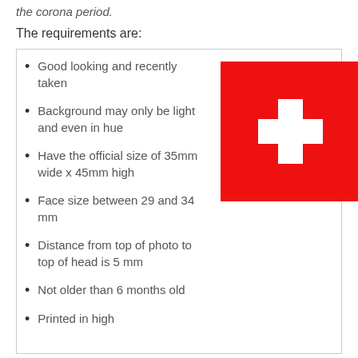the corona period.
The requirements are:
Good looking and recently taken
Background may only be light and even in hue
Have the official size of 35mm wide x 45mm high
Face size between 29 and 34 mm
Distance from top of photo to top of head is 5 mm
Not older than 6 months old
Printed in high
[Figure (illustration): Swiss flag — red background with white cross in center]